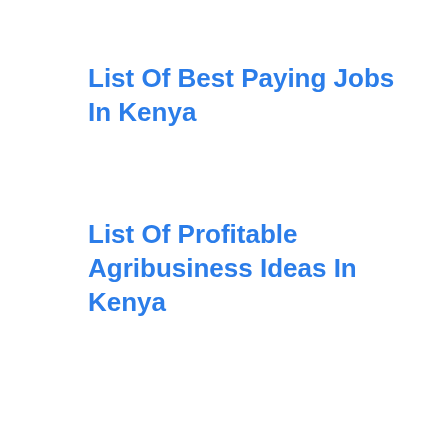List Of Best Paying Jobs In Kenya
List Of Profitable Agribusiness Ideas In Kenya
List of Top 10 Best Places to Live in Nairobi
Contact   Privacy Policy   About Us
© 2022 Victor Matara